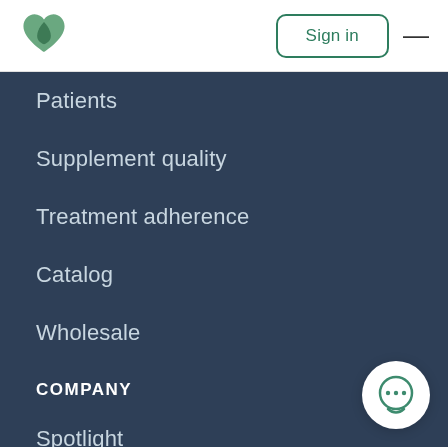[Figure (logo): Fullscript green heart logo]
Sign in
Patients
Supplement quality
Treatment adherence
Catalog
Wholesale
COMPANY
Spotlight
About Fullscript
[Figure (illustration): Chat bubble icon with three dots]